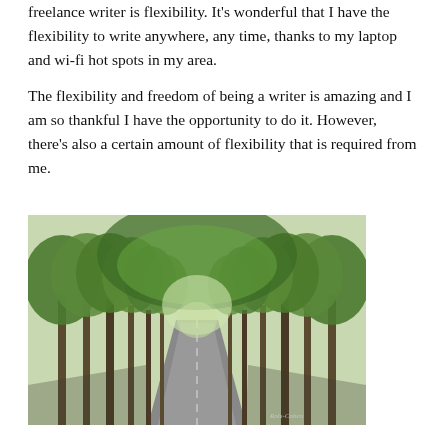freelance writer is flexibility. It's wonderful that I have the flexibility to write anywhere, any time, thanks to my laptop and wi-fi hot spots in my area.
The flexibility and freedom of being a writer is amazing and I am so thankful I have the opportunity to do it. However, there's also a certain amount of flexibility that is required from me.
[Figure (photo): A tree-lined road or path with tall trees forming a canopy overhead, with sunlight filtering through the green leaves. A road extends into the distance. Watermark reads 'Rois-Cohen'.]